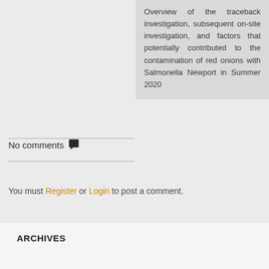Overview of the traceback investigation, subsequent on-site investigation, and factors that potentially contributed to the contamination of red onions with Salmonella Newport in Summer 2020
No comments 💬
You must Register or Login to post a comment.
ARCHIVES